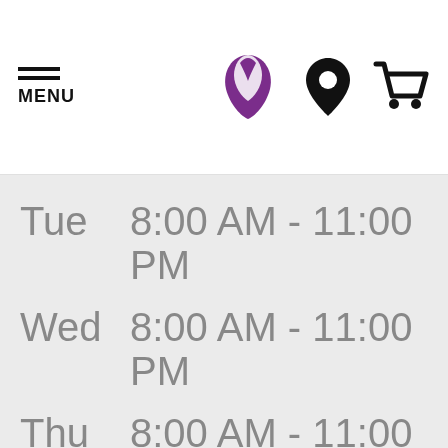MENU | Taco Bell logo | Location icon | Cart icon
| Day | Hours |
| --- | --- |
| Tue | 8:00 AM - 11:00 PM |
| Wed | 8:00 AM - 11:00 PM |
| Thu | 8:00 AM - 11:00 PM |